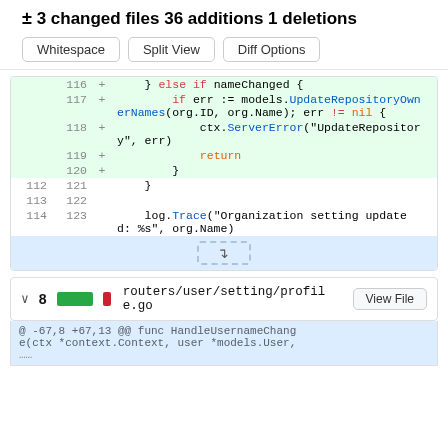± 3 changed files 36 additions 1 deletions
Whitespace | Split View | Diff Options
[Figure (screenshot): Code diff view showing added lines 116-120 with Go code including else if nameChanged block, UpdateRepositoryOwnerNames call, ServerError, and return statements. Unchanged lines 112-114 and 121-123 visible below. Ellipsis expand row at bottom.]
[Figure (screenshot): File header: v 8 [green/red bar] routers/user/setting/profile.go with View File button]
@ -67,8 +67,13 @@ func HandleUsernameChange(ctx *context.Context, user *models.User,